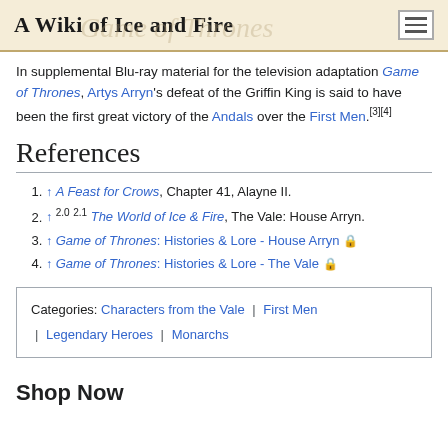A Wiki of Ice and Fire
In supplemental Blu-ray material for the television adaptation Game of Thrones, Artys Arryn's defeat of the Griffin King is said to have been the first great victory of the Andals over the First Men.[3][4]
References
↑ A Feast for Crows, Chapter 41, Alayne II.
↑ 2.0 2.1 The World of Ice & Fire, The Vale: House Arryn.
↑ Game of Thrones: Histories & Lore - House Arryn 🔒
↑ Game of Thrones: Histories & Lore - The Vale 🔒
Categories: Characters from the Vale | First Men | Legendary Heroes | Monarchs
Shop Now